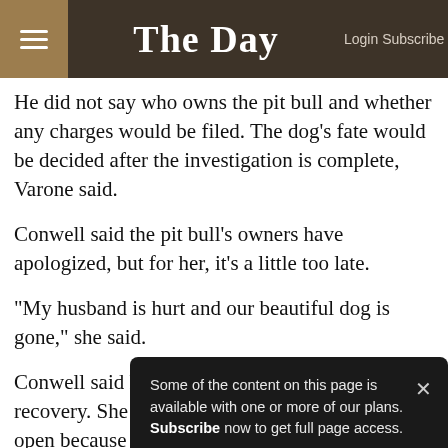The Day — Login Subscribe
He did not say who owns the pit bull and whether any charges would be filed. The dog's fate would be decided after the investigation is complete, Varone said.
Conwell said the pit bull's owners have apologized, but for her, it's a little too late.
"My husband is hurt and our beautiful dog is gone," she said.
Conwell said her husband has a long road to recovery. She said his wounds have to remain open because the bacteria from the
"I can't ev… husband's… gone."
Some of the content on this page is available with one or more of our plans. Subscribe now to get full page access.